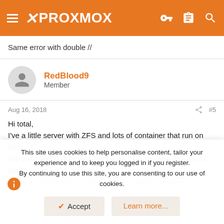PROXMOX
Same error with double //
RedBlood9
Member
Aug 16, 2018  #5
Hi total,
I've a little server with ZFS and lots of container that run on ZFS. I've imported in PVE the storage as ZFS Storage (the whole pool, on the mount point) and all my CT run without problem.
This site uses cookies to help personalise content, tailor your experience and to keep you logged in if you register.
By continuing to use this site, you are consenting to our use of cookies.